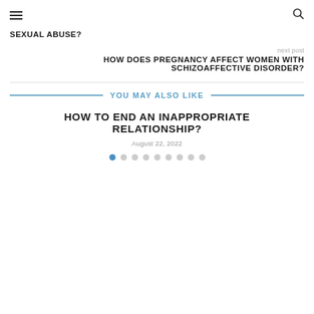☰  🔍
SEXUAL ABUSE?
next post
HOW DOES PREGNANCY AFFECT WOMEN WITH SCHIZOAFFECTIVE DISORDER?
YOU MAY ALSO LIKE
HOW TO END AN INAPPROPRIATE RELATIONSHIP?
August 22, 2022